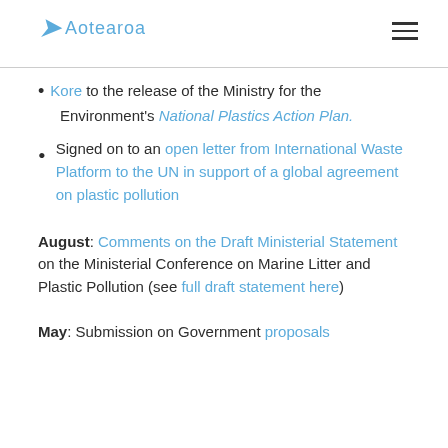Aotearoa (logo/navigation header)
Kore to the release of the Ministry for the Environment's National Plastics Action Plan.
Signed on to an open letter from International Waste Platform to the UN in support of a global agreement on plastic pollution
August: Comments on the Draft Ministerial Statement on the Ministerial Conference on Marine Litter and Plastic Pollution (see full draft statement here)
May: Submission on Government proposals